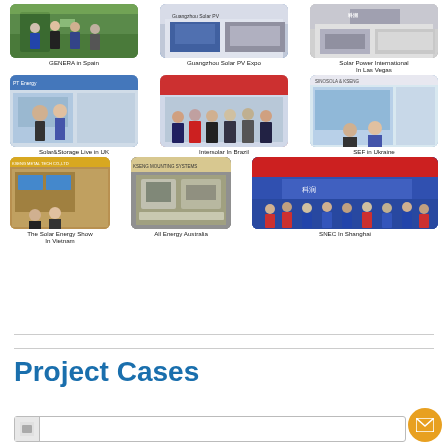[Figure (photo): Grid of 9 trade show/exhibition photos from various international solar energy events]
GENERA in Spain
Guangzhou Solar PV Expo
Solar Power International In Las Vegas
Solar&Storage Live in UK
Intersolar In Brazil
SEF in Ukraine
The Solar Energy Show In Vietnam
All Energy Australia
SNEC In Shanghai
Project Cases